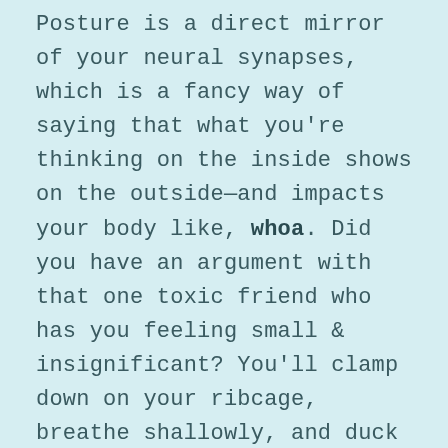Posture is a direct mirror of your neural synapses, which is a fancy way of saying that what you're thinking on the inside shows on the outside—and impacts your body like, whoa. Did you have an argument with that one toxic friend who has you feeling small & insignificant? You'll clamp down on your ribcage, breathe shallowly, and duck your head.
Just give yourself a pump-up pep talk in the elevator for that presentation you're about to deliver? Plus it can change your posture the